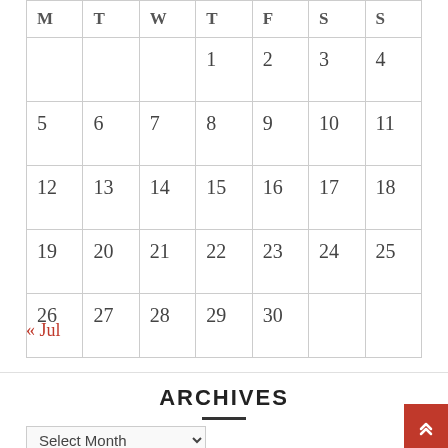| M | T | W | T | F | S | S |
| --- | --- | --- | --- | --- | --- | --- |
|  |  |  | 1 | 2 | 3 | 4 |
| 5 | 6 | 7 | 8 | 9 | 10 | 11 |
| 12 | 13 | 14 | 15 | 16 | 17 | 18 |
| 19 | 20 | 21 | 22 | 23 | 24 | 25 |
| 26 | 27 | 28 | 29 | 30 |  |  |
« Jul
ARCHIVES